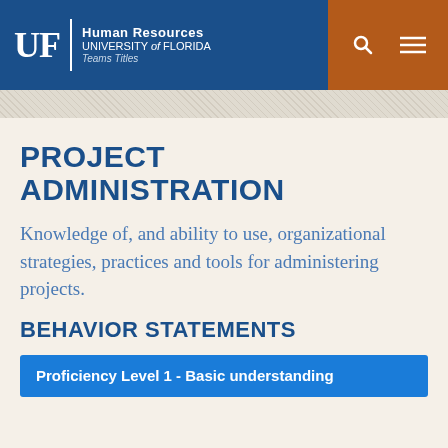UF Human Resources UNIVERSITY of FLORIDA Teams Titles
PROJECT ADMINISTRATION
Knowledge of, and ability to use, organizational strategies, practices and tools for administering projects.
BEHAVIOR STATEMENTS
Proficiency Level 1 - Basic understanding